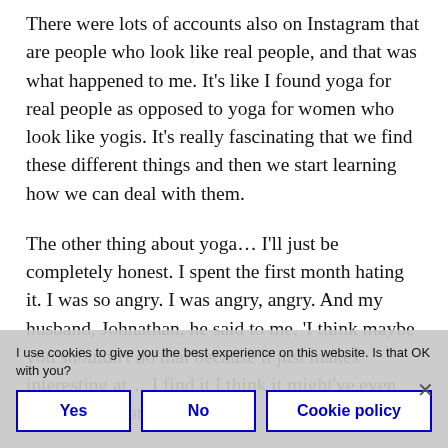There were lots of accounts also on Instagram that are people who look like real people, and that was what happened to me. It's like I found yoga for real people as opposed to yoga for women who look like yogis. It's really fascinating that we find these different things and then we start learning how we can deal with them.
The other thing about yoga… I'll just be completely honest. I spent the first month hating it. I was so angry. I was angry, angry. And my husband, Johnathan, he said to me, 'I think maybe you shouldn't do that because it just makes you…' But I find it interesting at… I think it might've even been three months. I was
I use cookies to give you the best experience on this website. Is that OK with you?
Yes | No | Cookie policy